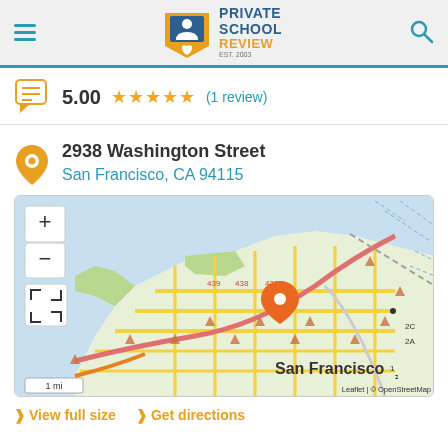Private School Review - EST. 2003
5.00 ★★★★★ (1 review)
2938 Washington Street
San Francisco, CA 94115
[Figure (map): Interactive street map of San Francisco showing location marker at 2938 Washington Street, with zoom controls (+/-) and fullscreen button. Scale shows 1 mi. Attribution: Leaflet | © OpenStreetMap]
> View full size  > Get directions